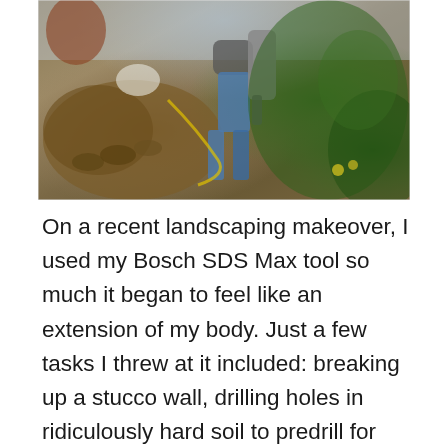[Figure (photo): A worker using a Bosch SDS Max tool outdoors, standing in a garden/landscaping area. On the left side, there is a dug-up area with exposed soil and dirt. On the right, the worker is holding the large power tool. Green plants and shrubs are visible in the background.]
On a recent landscaping makeover, I used my Bosch SDS Max tool so much it began to feel like an extension of my body. Just a few tasks I threw at it included: breaking up a stucco wall, drilling holes in ridiculously hard soil to predrill for bender board stakes to be hammered in, excavating recesses for landscape boulders to be positioned in, digging trenches for pvc irrigation lines, and digging out portions of sloped yard for planter areas. The crew working on our concrete block wall project relied heavily on an old Makita SDS